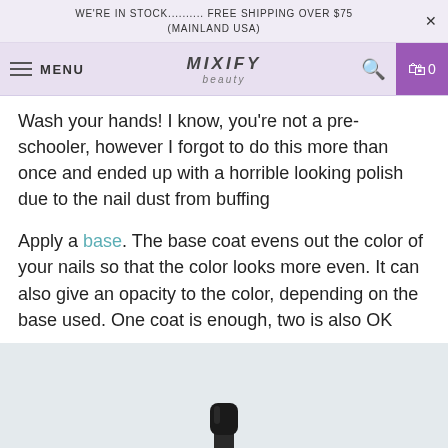WE'RE IN STOCK.......... FREE SHIPPING OVER $75 (MAINLAND USA)
MENU | MIXIFY beauty | search | 0
Wash your hands! I know, you're not a pre-schooler, however I forgot to do this more than once and ended up with a horrible looking polish due to the nail dust from buffing
Apply a base. The base coat evens out the color of your nails so that the color looks more even. It can also give an opacity to the color, depending on the base used. One coat is enough, two is also OK
[Figure (photo): A dark nail polish bottle standing upright against a light grey/blue background, showing the cap and top portion of the bottle]